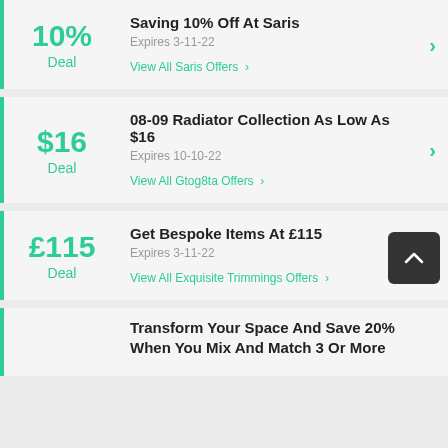10% Deal — Saving 10% Off At Saris — Expires 3-11-22 — View All Saris Offers
$16 Deal — 08-09 Radiator Collection As Low As $16 — Expires 10-10-22 — View All Gtog8ta Offers
£115 Deal — Get Bespoke Items At £115 — Expires 3-11-22 — View All Exquisite Trimmings Offers
Transform Your Space And Save 20% When You Mix And Match 3 Or More